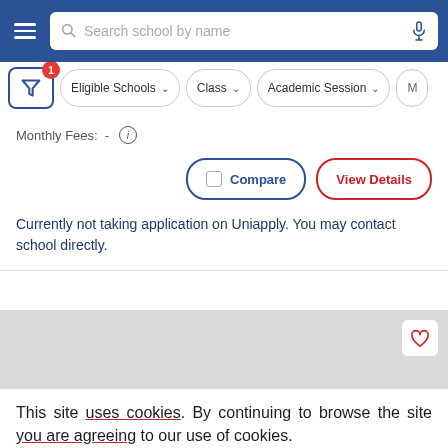Search school by name
Eligible Schools | Class | Academic Session
Monthly Fees: -
Compare | View Details
Currently not taking application on Uniapply. You may contact school directly.
This site uses cookies. By continuing to browse the site you are agreeing to our use of cookies.
This will help to provide better user experience.
Ok, I Understand